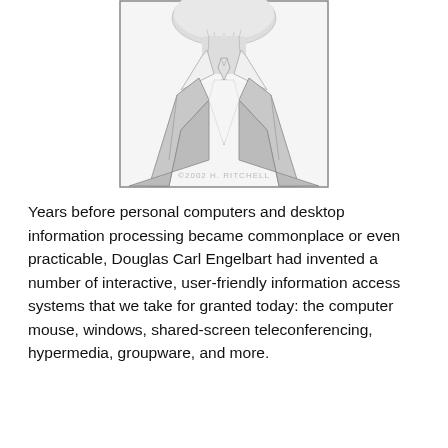[Figure (illustration): Pencil sketch portrait of a man wearing a suit and tie, viewed from roughly the chin/neck down to the chest. Watermark reads '©2002 H. RITCHELL' at the bottom of the image.]
Years before personal computers and desktop information processing became commonplace or even practicable, Douglas Carl Engelbart had invented a number of interactive, user-friendly information access systems that we take for granted today: the computer mouse, windows, shared-screen teleconferencing, hypermedia, groupware, and more.